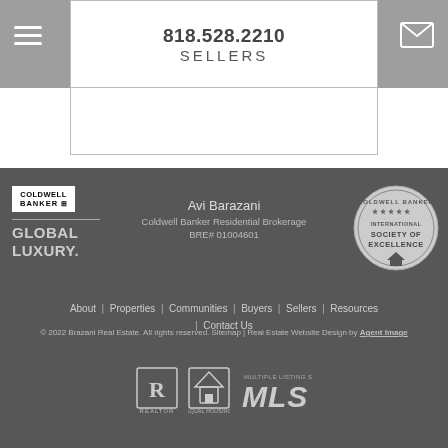818.528.2210 SELLERS
Avi Barazani
Coldwell Banker Residential Brokerage
BRE# 01004601
About | Properties | Communities | Buyers | Sellers | Resources | Contact Us
© 2022 Brazani Real Estate. All rights reserved. Sitemap | Real Estate Website Design by Agent Image
[Figure (logo): Coldwell Banker Global Luxury logo and International Society of Excellence badge, plus REALTOR, Equal Housing, and MLS compliance logos at bottom]